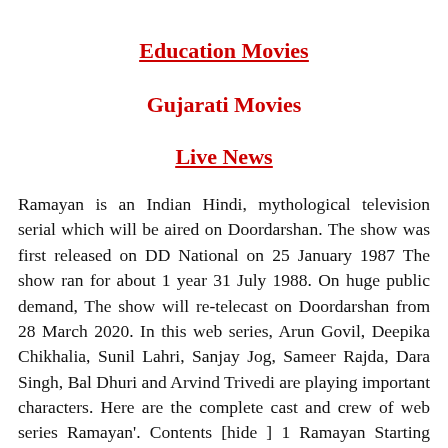Education Movies
Gujarati Movies
Live News
Ramayan is an Indian Hindi, mythological television serial which will be aired on Doordarshan. The show was first released on DD National on 25 January 1987 The show ran for about 1 year 31 July 1988. On huge public demand, The show will re-telecast on Doordarshan from 28 March 2020. In this web series, Arun Govil, Deepika Chikhalia, Sunil Lahri, Sanjay Jog, Sameer Rajda, Dara Singh, Bal Dhuri and Arvind Trivedi are playing important characters. Here are the complete cast and crew of web series Ramayan'. Contents [hide ] 1 Ramayan Starting Date and Timings 2 Ramayan Director, Producer and Production House 3 Ramayan Cast...